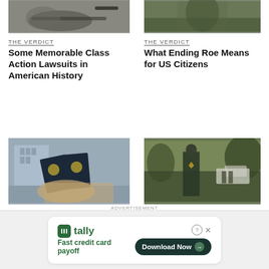[Figure (photo): Judge gavel and pen on dark background, top portion cropped]
[Figure (photo): Person standing in a field or outdoor setting, top portion cropped]
THE VERDICT
Some Memorable Class Action Lawsuits in American History
THE VERDICT
What Ending Roe Means for US Citizens
[Figure (photo): Two US passports being held by a person's hands, with a building in the background]
[Figure (photo): Police officer from behind in uniform, standing in a parking lot area]
THE VERDICT
How Long For Marriage to a US Citizen to Secure US Citizenship?
THE VERDICT
Why Police Officers Should Analyze How the Johnny Depp Defamation Lawsuit
ADVERTISEMENT
[Figure (screenshot): Tally app advertisement: 'Fast credit card payoff' with Download Now button]